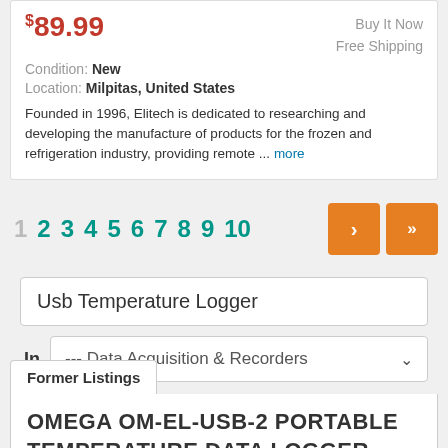$89.99
Buy It Now
Free Shipping
Condition: New
Location: Milpitas, United States
Founded in 1996, Elitech is dedicated to researching and developing the manufacture of products for the frozen and refrigeration industry, providing remote ... more
1 2 3 4 5 6 7 8 9 10
Usb Temperature Logger
In --- Data Acquisition & Recorders
Former Listings
OMEGA OM-EL-USB-2 PORTABLE TEMPERATURE DATA LOGGER MODUEL